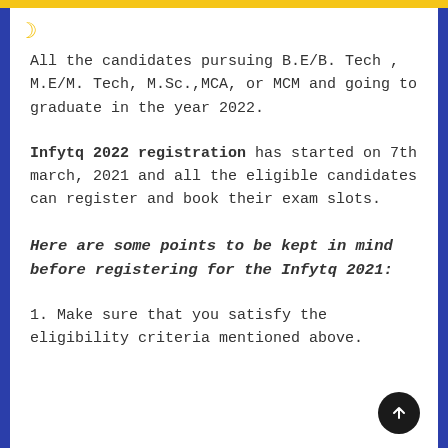All the candidates pursuing B.E/B. Tech , M.E/M. Tech, M.Sc.,MCA, or MCM and going to graduate in the year 2022.
Infytq 2022 registration has started on 7th march, 2021 and all the eligible candidates can register and book their exam slots.
Here are some points to be kept in mind before registering for the Infytq 2021:
1. Make sure that you satisfy the eligibility criteria mentioned above.